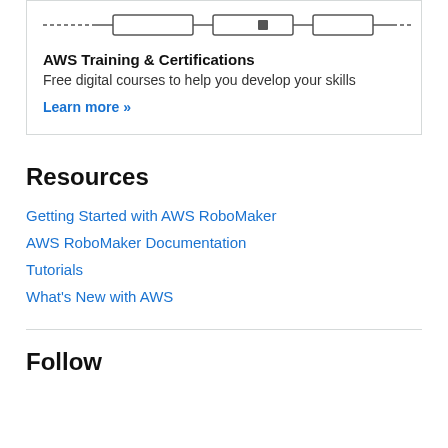[Figure (schematic): AWS Training & Certifications diagram with dashed lines and boxes]
AWS Training & Certifications
Free digital courses to help you develop your skills
Learn more »
Resources
Getting Started with AWS RoboMaker
AWS RoboMaker Documentation
Tutorials
What's New with AWS
Follow